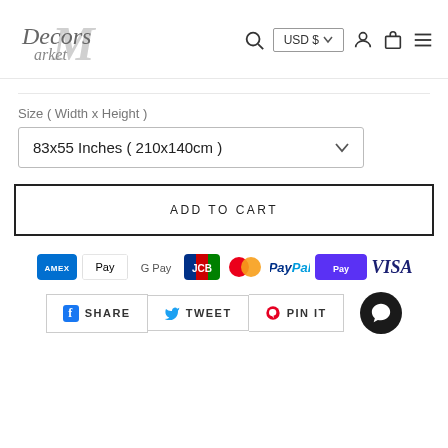[Figure (logo): Decors Market logo with stylized script text and large M in background]
Size ( Width x Height )
83x55 Inches ( 210x140cm )
ADD TO CART
[Figure (other): Payment method icons: Amex, Apple Pay, Google Pay, JCB, Mastercard, PayPal, Shop Pay, Visa]
[Figure (other): Social share buttons: Share (Facebook), Tweet (Twitter), Pin It (Pinterest), and chat bubble icon]